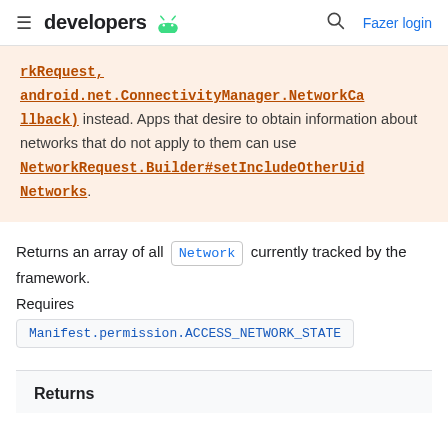developers | Fazer login
rkRequest, android.net.ConnectivityManager.NetworkCallback) instead. Apps that desire to obtain information about networks that do not apply to them can use NetworkRequest.Builder#setIncludeOtherUidNetworks.
Returns an array of all Network currently tracked by the framework.
Requires
Manifest.permission.ACCESS_NETWORK_STATE
Returns